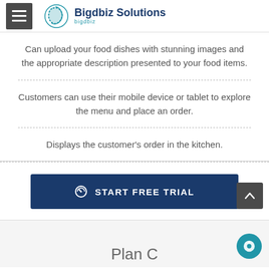Bigdbiz Solutions
Can upload your food dishes with stunning images and the appropriate description presented to your food items.
Customers can use their mobile device or tablet to explore the menu and place an order.
Displays the customer's order in the kitchen.
START FREE TRIAL
Plan C